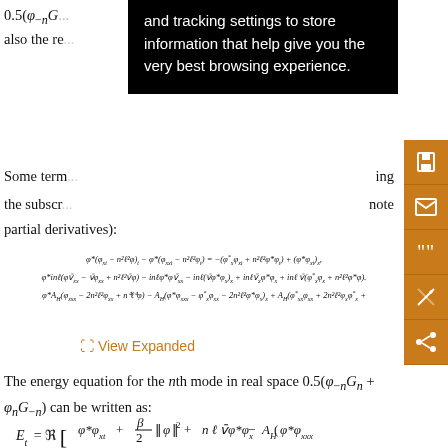0.5(φ_{-n}G... It is also the re...
Some term... ing the subscr... note partial derivatives):
View Expanded
The energy equation for the nth mode in real space 0.5(φ_{-n}G_n + φ_n G_{-n}) can be written as: